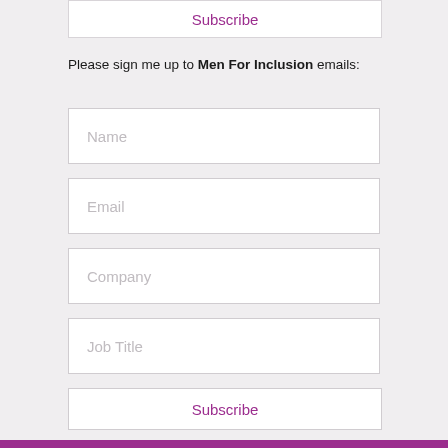Subscribe
Please sign me up to Men For Inclusion emails:
Name
Email
Company
Job Title
Subscribe
Our Privacy and Data Policy